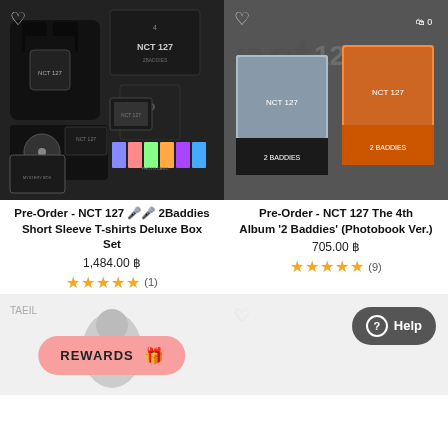[Figure (screenshot): NCT 127 2Baddies Short Sleeve T-shirts Deluxe Box Set product image on dark background with t-shirt, CD, photocard pack, mystery box]
[Figure (screenshot): NCT 127 The 4th Album 2 Baddies Photobook Ver. product image showing two photo book cover versions]
Pre-Order - NCT 127 2Baddies Short Sleeve T-shirts Deluxe Box Set
1,484.00 ฿
★★★★★ (1)
Pre-Order - NCT 127 The 4th Album '2 Baddies' (Photobook Ver.)
705.00 ฿
★★★★★ (9)
[Figure (screenshot): Bottom left partial product image with TAEIL label and REWARDS button]
[Figure (screenshot): Bottom right partial product image with Help button]